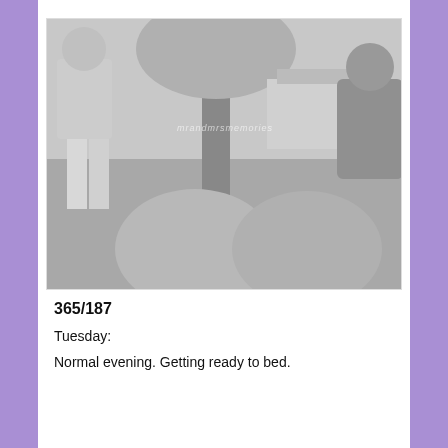[Figure (photo): Black and white vintage photograph showing people outdoors on grass. A child in shorts stands on the left near a tree, and in the foreground are the bent knees of a seated person. A man is visible on the right side. A watermark reads 'mrandmrsmemories' across the middle of the photo.]
365/187
Tuesday:
Normal evening. Getting ready to bed.